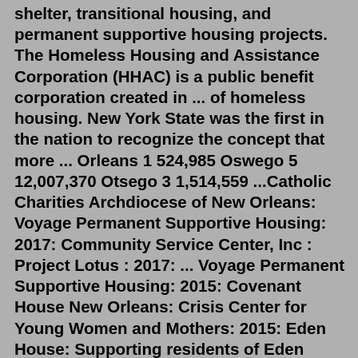shelter, transitional housing, and permanent supportive housing projects. The Homeless Housing and Assistance Corporation (HHAC) is a public benefit corporation created in ... of homeless housing. New York State was the first in the nation to recognize the concept that more ... Orleans 1 524,985 Oswego 5 12,007,370 Otsego 3 1,514,559 ...Catholic Charities Archdiocese of New Orleans: Voyage Permanent Supportive Housing: 2017: Community Service Center, Inc : Project Lotus : 2017: ... Voyage Permanent Supportive Housing: 2015: Covenant House New Orleans: Crisis Center for Young Women and Mothers: 2015: Eden House: Supporting residents of Eden House:Turn Hotels into Long-Term Affordable Housing Options. Different cities have been taking different approaches to their programs. In Klamath Falls, for instance, the plan is to find permanent supportive housing for formerly incarcerated people. The key to plans like these is to ensure they aren't just utilized in times of crisis then